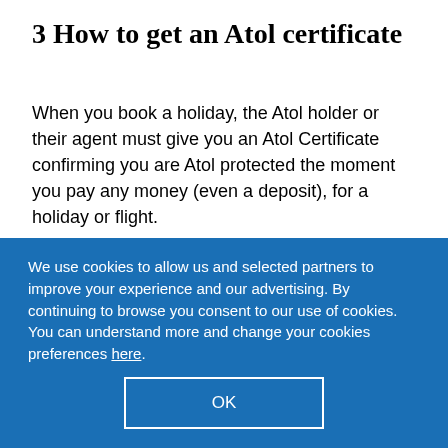3 How to get an Atol certificate
When you book a holiday, the Atol holder or their agent must give you an Atol Certificate confirming you are Atol protected the moment you pay any money (even a deposit), for a holiday or flight.
If a protection scheme is in place for your money, it's important that you obtain and keep all relevant paperwork so that you can make a claim f...
We use cookies to allow us and selected partners to improve your experience and our advertising. By continuing to browse you consent to our use of cookies. You can understand more and change your cookies preferences here.